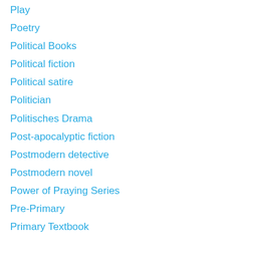Play
Poetry
Political Books
Political fiction
Political satire
Politician
Politisches Drama
Post-apocalyptic fiction
Postmodern detective
Postmodern novel
Power of Praying Series
Pre-Primary
Primary Textbook